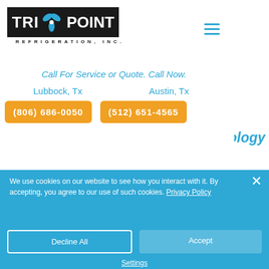[Figure (logo): Tri-Point Refrigeration Inc. logo with black box containing TRI and fan icon and POINT text, with REFRIGERATION, INC. subtitle]
Call For Service or Quote. Call Now.
Lubbock, Tx       Austin, Tx
(806) 686-0050   (512) 651-4565
...ood to be true, this clean air technology is one that you can trust.
We use cookies on our website to see how you interact with it. By accepting, you agree to our use of such cookies. Privacy Policy
Decline All
Accept
Settings